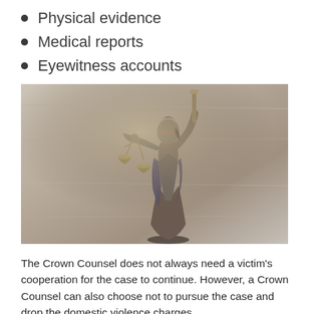Physical evidence
Medical reports
Eyewitness accounts
[Figure (photo): Bronze statue of Lady Justice (Themis) holding scales of justice, blindfolded, against a light wooden background]
The Crown Counsel does not always need a victim's cooperation for the case to continue. However, a Crown Counsel can also choose not to pursue the case and drop the domestic violence charges